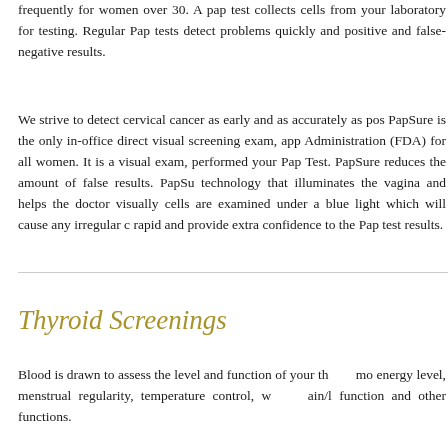frequently for women over 30. A pap test collects cells from your laboratory for testing. Regular Pap tests detect problems quickly and positive and false-negative results.
We strive to detect cervical cancer as early and as accurately as possible. PapSure is the only in-office direct visual screening exam, approved by the Food and Drug Administration (FDA) for all women. It is a visual exam, performed at the same time as your Pap Test. PapSure reduces the amount of false results. PapSure uses a special technology that illuminates the vagina and helps the doctor visually identify abnormal cells are examined under a blue light which will cause any irregular cells to glow rapid and provide extra confidence to the Pap test results.
Thyroid Screenings
Blood is drawn to assess the level and function of your thyroid. It monitors energy level, menstrual regularity, temperature control, weight gain/loss, function and other functions.